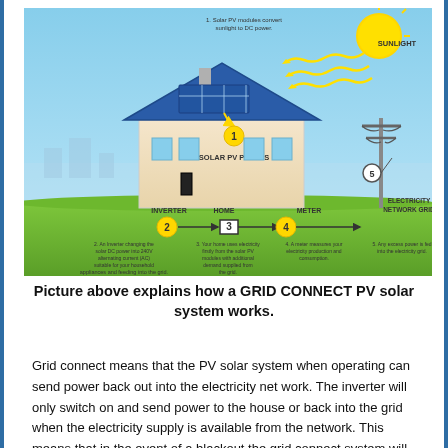[Figure (infographic): Diagram showing how a grid connect PV solar system works. A house with solar PV panels on the roof (step 1) converts sunlight to DC power. An inverter (step 2) changes solar DC power into 240V AC. The home (step 3) uses electricity from the solar PV modules with additional demand from the grid. A meter (step 4) measures electricity production and consumption. Any excess power (step 5) is fed into the electricity network grid. Arrows show flow from inverter to home to meter to electricity network grid. Sunlight shown hitting solar panels from upper right.]
Picture above explains how a GRID CONNECT PV solar system works.
Grid connect means that the PV solar system when operating can send power back out into the electricity net work. The inverter will only switch on and send power to the house or back into the grid when the electricity supply is available from the network. This means that in the event of a blackout the grid connect system will not be on. This